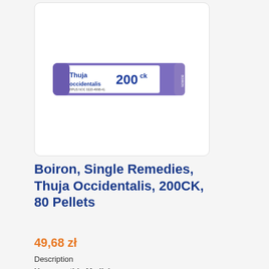[Figure (photo): Boiron Thuja Occidentalis 200CK homeopathic pellets tube with purple/blue label showing product name and potency]
Boiron, Single Remedies, Thuja Occidentalis, 200CK, 80 Pellets
49,68 zł
Description
Homeopathic Medicine
[Figure (photo): Second product image box (partially visible at bottom)]